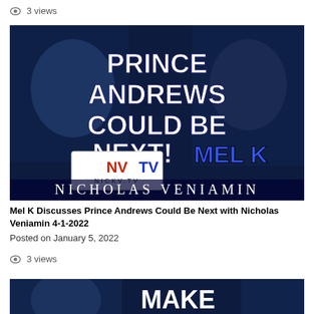👁 3 views
[Figure (screenshot): Video thumbnail showing NVTV Nicholas Veniamin and Mel K discussing Prince Andrews Could Be Next, with text overlay on dark blue digital background]
Mel K Discusses Prince Andrews Could Be Next with Nicholas Veniamin 4-1-2022
Posted on January 5, 2022
👁 3 views
[Figure (screenshot): Video thumbnail showing MAKE text with people on dark blue background, partially visible]